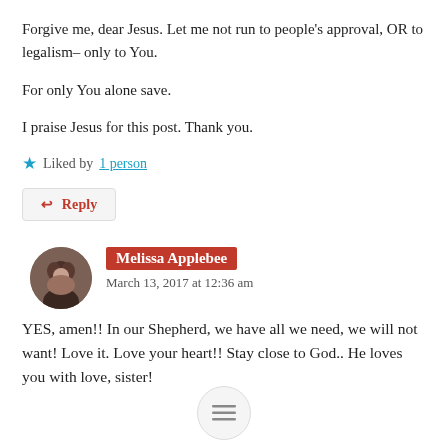Forgive me, dear Jesus. Let me not run to people's approval, OR to legalism– only to You.
For only You alone save.
I praise Jesus for this post. Thank you.
★ Liked by 1 person
↩ Reply
Melissa Applebee
March 13, 2017 at 12:36 am
YES, amen!! In our Shepherd, we have all we need, we will not want! Love it. Love your heart!! Stay close to God.. He loves you with love, sister!